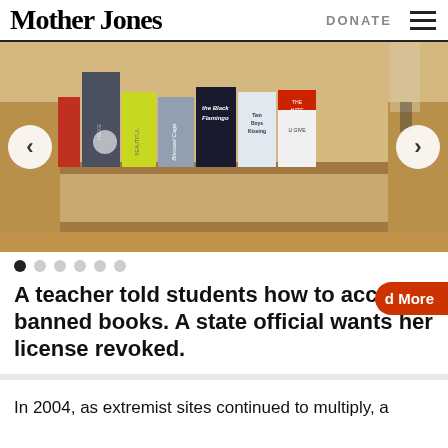Mother Jones | DONATE
[Figure (photo): Bookshelf display showing various books including 'the Black Flamingo', 'Two Boys Kissing', 'The Hate U Give', 'Beautiful', 'Caged', and others in what appears to be a bookstore or library. Navigation arrows visible on left and right.]
A teacher told students how to access banned books. A state official wants her license revoked.
In 2004, as extremist sites continued to multiply, a